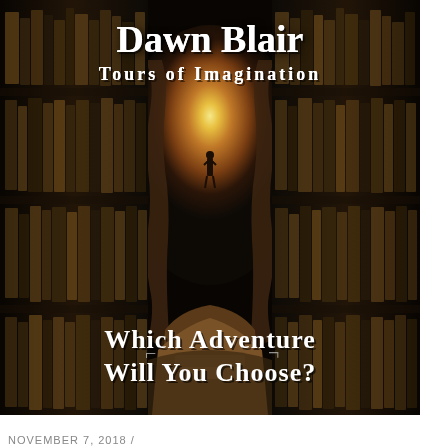[Figure (illustration): Promotional image for 'Dawn Blair Tours of Imagination' showing a library corridor with bookshelves on both sides leading to a glowing cave entrance with a silhouetted figure standing in the light. White bold text at top reads 'Dawn Blair / Tours of Imagination' and at the bottom 'Which Adventure Will You Choose?']
NOVEMBER 7, 2018 /